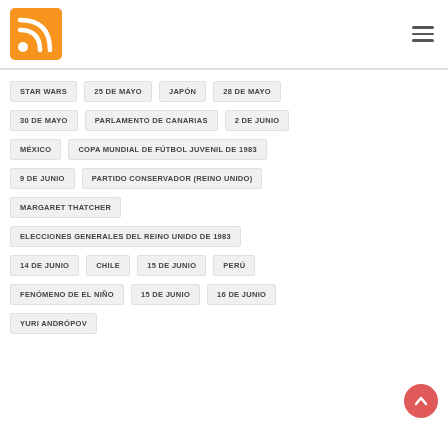[Figure (logo): RSS feed orange logo icon]
STAR WARS
25 DE MAYO
JAPÓN
28 DE MAYO
30 DE MAYO
PARLAMENTO DE CANARIAS
2 DE JUNIO
MÉXICO
COPA MUNDIAL DE FÚTBOL JUVENIL DE 1983
9 DE JUNIO
PARTIDO CONSERVADOR (REINO UNIDO)
MARGARET THATCHER
ELECCIONES GENERALES DEL REINO UNIDO DE 1983
14 DE JUNIO
CHILE
15 DE JUNIO
PERÚ
FENÓMENO DE EL NIÑO
15 DE JUNIO
16 DE JUNIO
YURI ANDRÓPOV